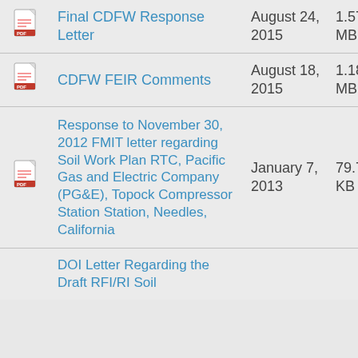| Icon | Name | Date | Size |
| --- | --- | --- | --- |
| [pdf] | Final CDFW Response Letter | August 24, 2015 | 1.57 MB |
| [pdf] | CDFW FEIR Comments | August 18, 2015 | 1.18 MB |
| [pdf] | Response to November 30, 2012 FMIT letter regarding Soil Work Plan RTC, Pacific Gas and Electric Company (PG&E), Topock Compressor Station Station, Needles, California | January 7, 2013 | 79.72 KB |
| [pdf] | DOI Letter Regarding the Draft RFI/RI Soil |  |  |